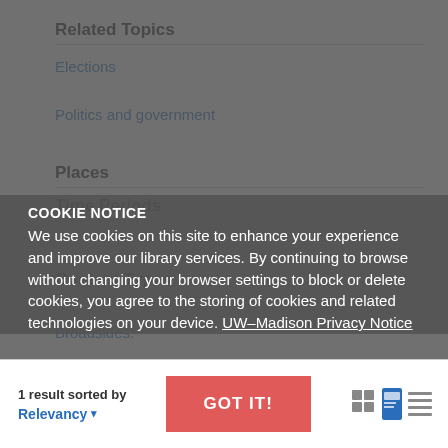Related Topics
Elections
Politics and government
Places
Time Periods
Content Types
Broadsides:
COOKIE NOTICE
We use cookies on this site to enhance your experience and improve our library services. By continuing to browse without changing your browser settings to block or delete cookies, you agree to the storing of cookies and related technologies on your device. UW–Madison Privacy Notice
1 result sorted by
Relevancy
GOT IT!